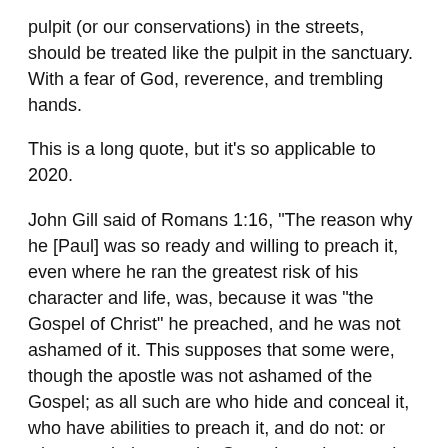pulpit (or our conservations) in the streets, should be treated like the pulpit in the sanctuary. With a fear of God, reverence, and trembling hands.
This is a long quote, but it's so applicable to 2020.
John Gill said of Romans 1:16, "The reason why he [Paul] was so ready and willing to preach it, even where he ran the greatest risk of his character and life, was, because it was "the Gospel of Christ" he preached, and he was not ashamed of it. This supposes that some were, though the apostle was not ashamed of the Gospel; as all such are who hide and conceal it, who have abilities to preach it, and do not: or who preach, but not the Gospel; or who preach the Gospel only in part, who own that in private, they will not preach in public, and use ambiguous words, of doubtful signification, to cover themselves; who blend the Gospel with their own inventions, seek to please men, and live upon popular applause, regard their own interest, and not Christ's, and cannot bear the reproach of his Gospel, but cover themselves, and...